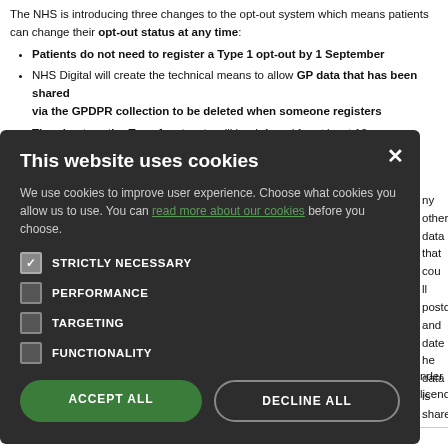The NHS is introducing three changes to the opt-out system which means patients can change their opt-out status at any time:
Patients do not need to register a Type 1 opt-out by 1 September
NHS Digital will create the technical means to allow GP data that has been shared via the GPDPR collection to be deleted when someone registers a Type 1 opt-out
The plan to retire Type 1 opt-outs will be deferred for at least 12 months after the system is up and running, and will not be implemented without consultation with...
[Figure (screenshot): Cookie consent modal dialog with dark background. Title: 'This website uses cookies'. Body text: 'We use cookies to improve user experience. Choose what cookies you allow us to use. You can read more about our cookies before you choose.' Checkboxes: STRICTLY NECESSARY (checked), PERFORMANCE (unchecked), TARGETING (unchecked), FUNCTIONALITY (unchecked). Buttons: ACCEPT ALL (green), DECLINE ALL (outlined). Close X button in top right.]
ny other data that could identify a patient such as full postcode and date of birth is removed before the data is shared with
ns that no one will be... Using the terms in the
nder licence.
to convert the unique... a valid legal reason. O... tifiable data in the dia... a research project or
e-identify the data is in
The NHS Digital programme will be providing further information as the